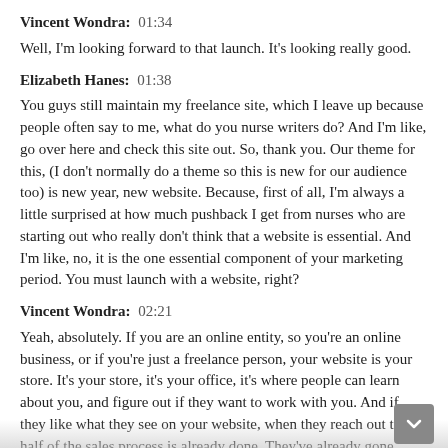Vincent Wondra:  01:34
Well, I'm looking forward to that launch. It's looking really good.
Elizabeth Hanes:  01:38
You guys still maintain my freelance site, which I leave up because people often say to me, what do you nurse writers do? And I'm like, go over here and check this site out. So, thank you. Our theme for this, (I don't normally do a theme so this is new for our audience too) is new year, new website. Because, first of all, I'm always a little surprised at how much pushback I get from nurses who are starting out who really don't think that a website is essential. And I'm like, no, it is the one essential component of your marketing period. You must launch with a website, right?
Vincent Wondra:  02:21
Yeah, absolutely. If you are an online entity, so you're an online business, or if you're just a freelance person, your website is your store. It's your store, it's your office, it's where people can learn about you, and figure out if they want to work with you. And if they like what they see on your website, when they reach out to you half of the sales process is already done. They've already gone through and gone this person has the skills to solve whatever